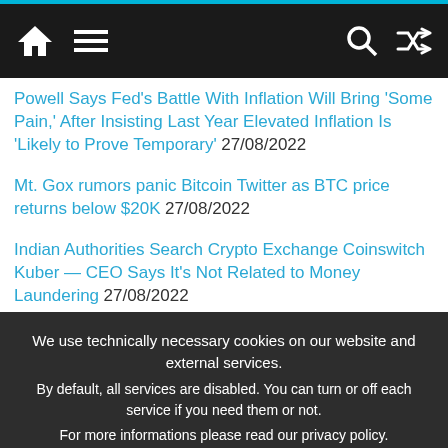Navigation bar with home, menu, search, and shuffle icons
Powell Says Fed's Battle With Inflation Will Bring 'Some Pain,' After Insisting Last Year Elevated Inflation Is 'Likely to Prove Temporary' 27/08/2022
Mt. Gox rumors panic Bitcoin Twitter as BTC price returns below $20K 27/08/2022
Indian Authorities Search Crypto Exchange Coinswitch Kuber — CEO Says It's Not Related to Money Laundering 27/08/2022
We use technically necessary cookies on our website and external services. By default, all services are disabled. You can turn or off each service if you need them or not. For more informations please read our privacy policy.
✓ Accept
Customize